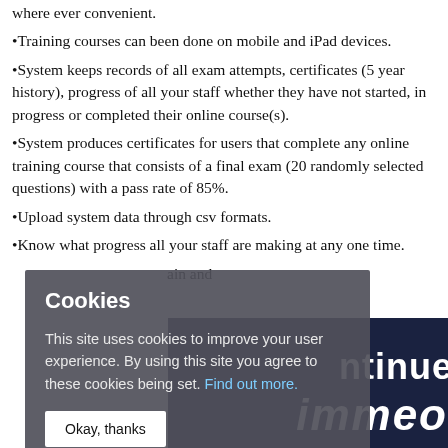where ever convenient.
•Training courses can been done on mobile and iPad devices.
•System keeps records of all exam attempts, certificates (5 year history), progress of all your staff whether they have not started, in progress or completed their online course(s).
•System produces certificates for users that complete any online training course that consists of a final exam (20 randomly selected questions) with a pass rate of 85%.
•Upload system data through csv formats.
•Know what progress all your staff are making at any one time.
...ain and
[Figure (screenshot): Cookie consent overlay dialog box with dark gray background. Title: 'Cookies'. Body text: 'This site uses cookies to improve your user experience. By using this site you agree to these cookies being set. Find out more.' Button: 'Okay, thanks']
[Figure (screenshot): Dark navy blue banner at bottom right with white bold text 'ntinue' and 'immeo' in italic bold white text]